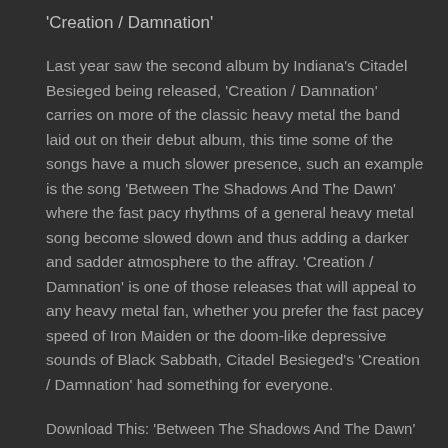'Creation / Damnation'
Last year saw the second album by Indiana's Citadel Besieged being released, 'Creation / Damnation' carries on more of the classic heavy metal the band laid out on their debut album, this time some of the songs have a much slower presence, such an example is the song 'Between The Shadows And The Dawn' where the fast pacy rhythms of a general heavy metal song become slowed down and thus adding a darker and sadder atmosphere to the affray. 'Creation / Damnation' is one of those releases that will appeal to any heavy metal fan, whether you prefer the fast pacey speed of Iron Maiden or the doom-like depressive sounds of Black Sabbath, Citadel Besieged's 'Creation / Damnation' had something for everyone.
Download This: 'Between The Shadows And The Dawn'
For Fans of: Iron Maiden, Black Sabbath
[8] RHYS STEVENSON